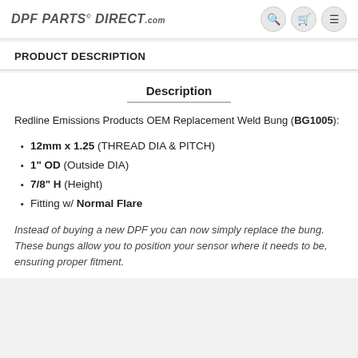DPF PARTS DIRECT.com
PRODUCT DESCRIPTION
Description
Redline Emissions Products OEM Replacement Weld Bung (BG1005):
12mm x 1.25 (THREAD DIA & PITCH)
1" OD (Outside DIA)
7/8" H (Height)
Fitting w/ Normal Flare
Instead of buying a new DPF you can now simply replace the bung. These bungs allow you to position your sensor where it needs to be, ensuring proper fitment.